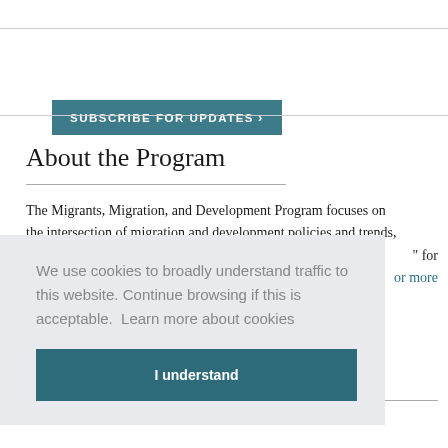[Figure (other): Subscribe for updates button with teal background and right arrow]
About the Program
The Migrants, Migration, and Development Program focuses on the intersection of migration and development policies and trends,
" for
or more
We use cookies to broadly understand traffic to this website. Continue browsing if this is acceptable.  Learn more about cookies
I understand